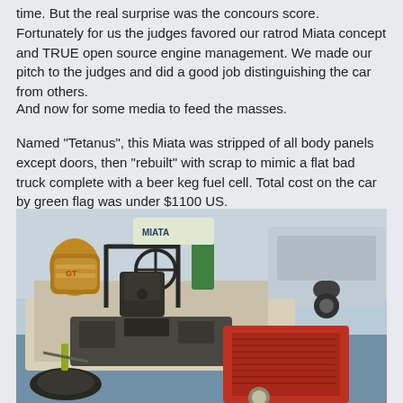time. But the real surprise was the concours score. Fortunately for us the judges favored our ratrod Miata concept and TRUE open source engine management. We made our pitch to the judges and did a good job distinguishing the car from others.
And now for some media to feed the masses.
Named "Tetanus", this Miata was stripped of all body panels except doors, then "rebuilt" with scrap to mimic a flat bad truck complete with a beer keg fuel cell. Total cost on the car by green flag was under $1100 US.
[Figure (photo): Photo of the Tetanus Miata ratrod car with body panels removed, showing exposed engine bay, roll cage, racing seat, beer keg fuel cell, and red front end. A van is visible in the background.]